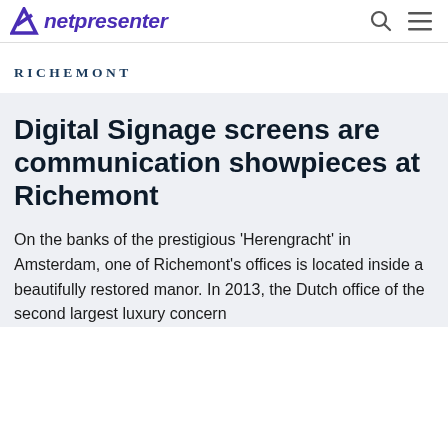netpresenter
[Figure (logo): Richemont logo with serif uppercase lettering in dark navy blue]
Digital Signage screens are communication showpieces at Richemont
On the banks of the prestigious ‘Herengracht’ in Amsterdam, one of Richemont’s offices is located inside a beautifully restored manor. In 2013, the Dutch office of the second largest luxury concern